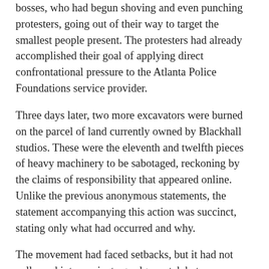bosses, who had begun shoving and even punching protesters, going out of their way to target the smallest people present. The protesters had already accomplished their goal of applying direct confrontational pressure to the Atlanta Police Foundations service provider.
Three days later, two more excavators were burned on the parcel of land currently owned by Blackhall studios. These were the eleventh and twelfth pieces of heavy machinery to be sabotaged, reckoning by the claims of responsibility that appeared online. Unlike the previous anonymous statements, the statement accompanying this action was succinct, stating only what had occurred and why.
The movement had faced setbacks, but it had not collapsed into a private grudge match between